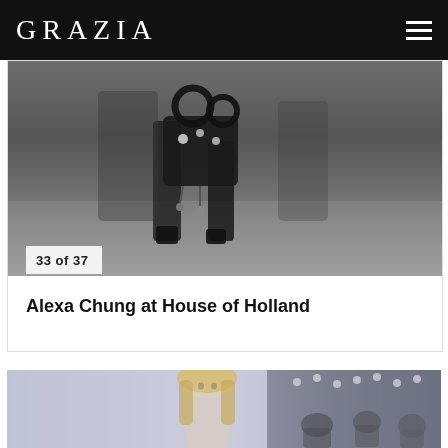GRAZIA
33 of 37
Alexa Chung at House of Holland
[Figure (photo): Fashion show runway photo showing a model's legs and a black bag with circular handles and dangling charms, on a grey runway floor. Semi-transparent white box overlaid with '33 of 37' counter.]
[Figure (photo): A blonde woman in a light-colored outfit at what appears to be a fashion show or event, with stadium lighting rigs and audience visible in the background.]